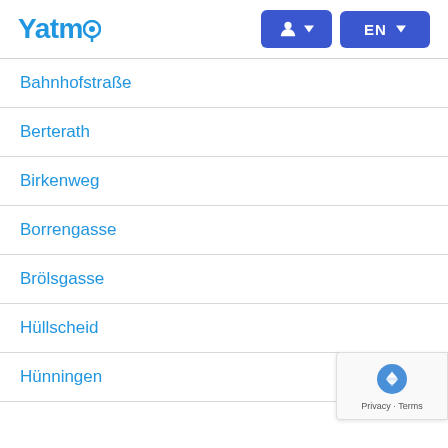Yatmo | Account | EN
Bahnhofstraße
Berterath
Birkenweg
Borrengasse
Brölsgasse
Hüllscheid
Hünningen